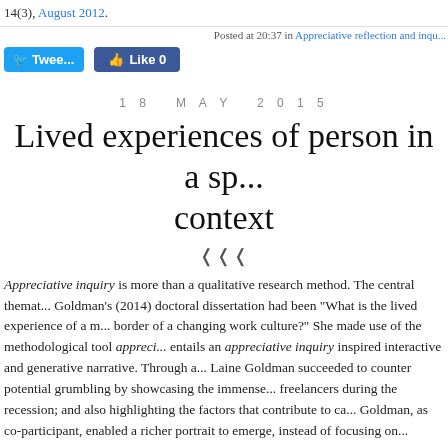14(3), August 2012.
Posted at 20:37 in Appreciative reflection and inqu...
[Figure (other): Twitter Tweet button and Facebook Like 0 button]
18 MAY 2015
Lived experiences of person in a sp... context
Appreciative inquiry is more than a qualitative research method. The central themat... Goldman's (2014) doctoral dissertation had been "What is the lived experience of a m... border of a changing work culture?" She made use of the methodological tool appreci... entails an appreciative inquiry inspired interactive and generative narrative. Through a... Laine Goldman succeeded to counter potential grumbling by showcasing the immense... freelancers during the recession; and also highlighting the factors that contribute to ca... Goldman, as co-participant, enabled a richer portrait to emerge, instead of focusing on...
Appreciative inquiry served as perception changer. Laine Goldman did not change t...